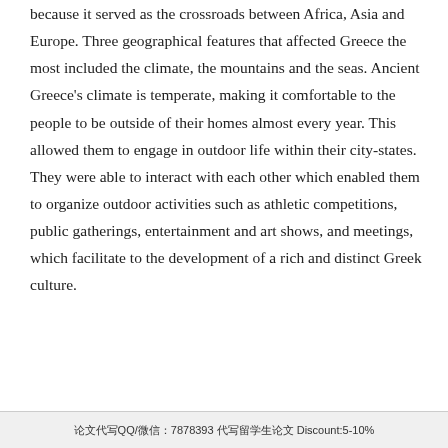because it served as the crossroads between Africa, Asia and Europe. Three geographical features that affected Greece the most included the climate, the mountains and the seas. Ancient Greece's climate is temperate, making it comfortable to the people to be outside of their homes almost every year. This allowed them to engage in outdoor life within their city-states. They were able to interact with each other which enabled them to organize outdoor activities such as athletic competitions, public gatherings, entertainment and art shows, and meetings, which facilitate to the development of a rich and distinct Greek culture.
论文代写QQ/微信：7878393 代写留学生论文 Discount:5-10%